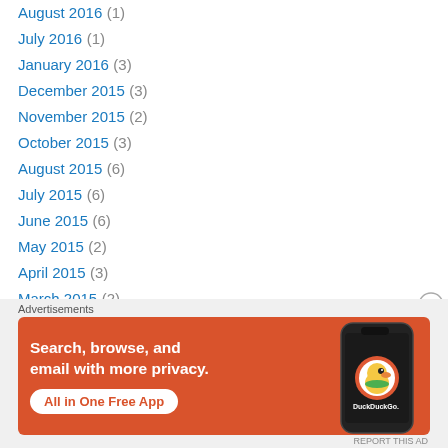August 2016 (1)
July 2016 (1)
January 2016 (3)
December 2015 (3)
November 2015 (2)
October 2015 (3)
August 2015 (6)
July 2015 (6)
June 2015 (6)
May 2015 (2)
April 2015 (3)
March 2015 (2)
February 2015 (9)
January 2015 (4)
Advertisements
[Figure (screenshot): DuckDuckGo advertisement banner: orange background with white bold text 'Search, browse, and email with more privacy. All in One Free App' and a phone graphic with DuckDuckGo logo.]